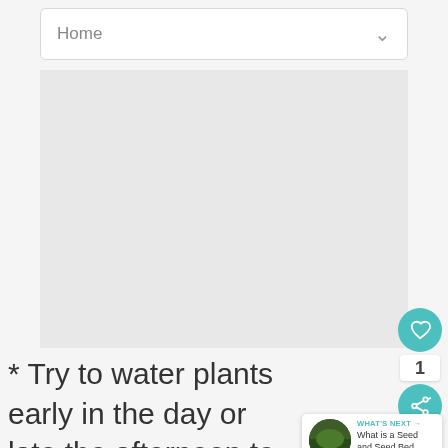Home
[Figure (other): Large gray placeholder/ad area]
* Try to water plants early in the day or late the afternoon to conserve water and cut down on plant stress. Do water early enough water has had a chance to dry from plant leaves prior to night fall. This is paramount if